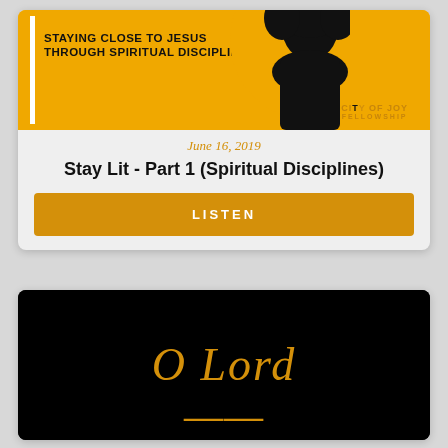[Figure (illustration): Card with yellow banner image showing 'Stay Lit' sermon series — black silhouette figure, white vertical bar, text 'STAYING CLOSE TO JESUS THROUGH SPIRITUAL DISCIPLINES', City of Joy Fellowship logo]
June 16, 2019
Stay Lit - Part 1 (Spiritual Disciplines)
LISTEN
[Figure (photo): Black background image with gold cursive handwriting text reading 'O Lord' and partial second line below, from City of Joy Fellowship church media]